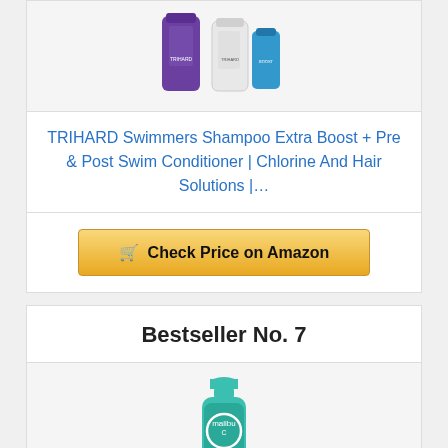[Figure (photo): Product image of TRIHARD Swimmers Shampoo and Conditioner bottles at top of page]
TRIHARD Swimmers Shampoo Extra Boost + Pre & Post Swim Conditioner | Chlorine And Hair Solutions |...
[Figure (other): Check Price on Amazon button with shopping cart icon]
Bestseller No. 7
[Figure (photo): Product image of Malibu C swimmers wellness shampoo bottle, teal/green color]